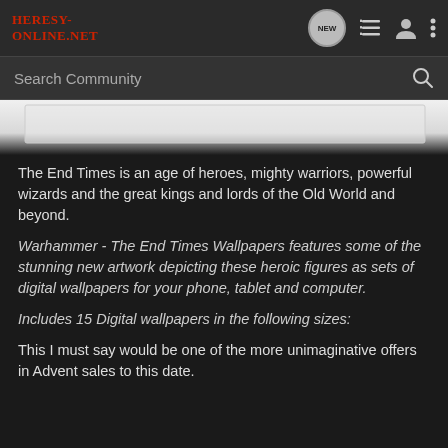Heresy-Online.net — navigation bar with NEW, list, user, and menu icons
Search Community
[Figure (photo): A decorative image strip showing white/grey textured or marble-like artwork background]
The End Times is an age of heroes, mighty warriors, powerful wizards and the great kings and lords of the Old World and beyond.
Warhammer - The End Times Wallpapers features some of the stunning new artwork depicting these heroic figures as sets of digital wallpapers for your phone, tablet and computer.
Includes 15 Digital wallpapers in the following sizes:
This I must say would be one of the more unimaginative offers in Advent sales to this date.